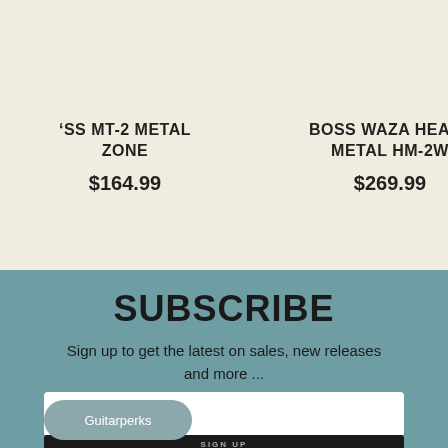BOSS MT-2 METAL ZONE
$164.99
BOSS WAZA HEAVY METAL HM-2W
$269.99
BOSS MT-2 METAL ZONE 30TH ANNIVERSARY SPECIAL EDITION
$179.99
SUBSCRIBE
Sign up to get the latest on sales, new releases and more ...
email address...
Guitarperks
SIGN UP